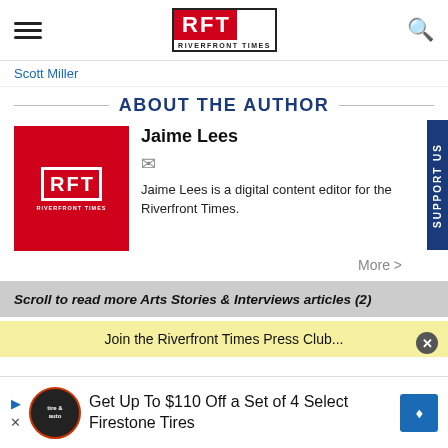RFT RIVERFRONT TIMES
Scott Miller
ABOUT THE AUTHOR
Jaime Lees
[Figure (logo): RFT Riverfront Times logo in red box]
Jaime Lees is a digital content editor for the Riverfront Times.
More >
Scroll to read more Arts Stories & Interviews articles (2)
Get Up To $110 Off a Set of 4 Select Firestone Tires